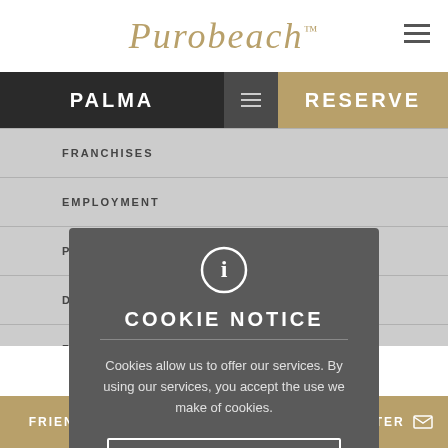Purobeach™
PALMA   ≡   RESERVE
FRANCHISES
EMPLOYMENT
PURO DESIGN
DESIGN BY CLICKTOTRAVEL
FOP TERMS
COOKIE NOTICE
Cookies allow us to offer our services. By using our services, you accept the use we make of cookies.
ACCEPT
REJECT
MORE INFORMATION
[Figure (logo): Puro Group logo with stylized P and text 'A MEMBER OF PURO GROUP']
FRIENDS OF PURO   NEWSLETTER